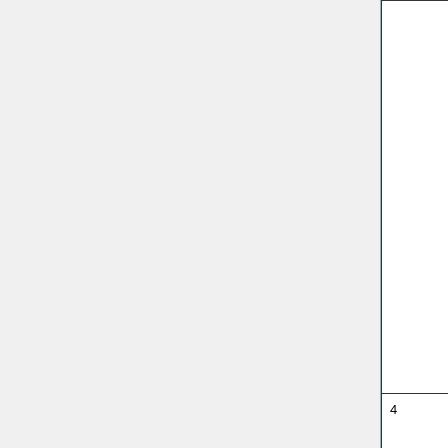| # | Parameter | Description |
| --- | --- | --- |
|  | Input_Opt%ND63_TRACERS | GEO... Che... repl... thes... the ... appr... valu... |
| 4 | Input_Opt%ND63_TRACERS | Spe... ND6... diag... quan... that ... wish... save... disk... Sepa... each... num... a sp... |